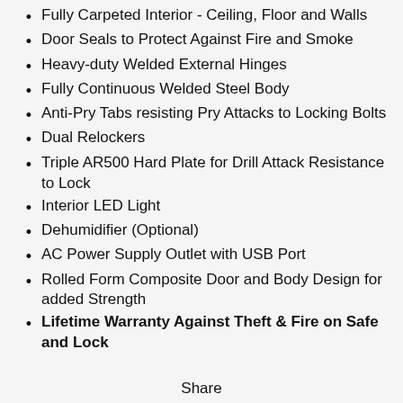Fully Carpeted Interior - Ceiling, Floor and Walls
Door Seals to Protect Against Fire and Smoke
Heavy-duty Welded External Hinges
Fully Continuous Welded Steel Body
Anti-Pry Tabs resisting Pry Attacks to Locking Bolts
Dual Relockers
Triple AR500 Hard Plate for Drill Attack Resistance to Lock
Interior LED Light
Dehumidifier (Optional)
AC Power Supply Outlet with USB Port
Rolled Form Composite Door and Body Design for added Strength
Lifetime Warranty Against Theft & Fire on Safe and Lock
Share